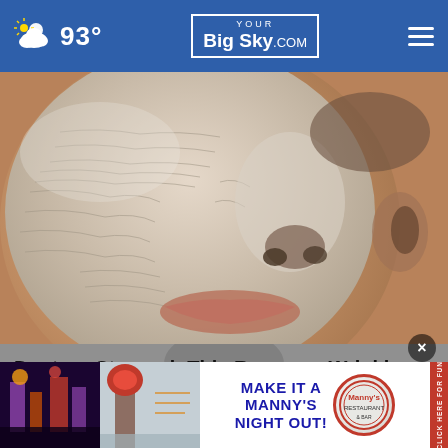93° YOUR Big Sky .COM
[Figure (photo): Close-up photo of a person's face with a white/grey clay or peel-off facial mask applied, showing texture and wrinkles]
Doctors Stunned: This Removes Wrinkles and Eye-bags Like Crazy! (Try Tonight!)
Trending Stories
[Figure (photo): Partial view of a second article image below, partially obscured by advertisement banner]
[Figure (infographic): Advertisement banner: MAKE IT A MANNY'S NIGHT OUT! with Manny's logo and two restaurant/bar images on left side. Red sidebar with vertical text 'CLICK HERE FOR FUN']